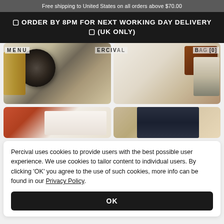Free shipping to United States on all orders above $70.00
🚀 ORDER BY 8PM FOR NEXT WORKING DAY DELIVERY 🚀 (UK ONLY)
[Figure (screenshot): Two product flatlay images side by side: left shows a camera with woven bag, right shows brown jacket with shoes and accessories]
[Figure (screenshot): Two product images side by side: left shows folded t-shirts in red/white, right shows a dark navy shirt/jacket on wood surface]
Percival uses cookies to provide users with the best possible user experience. We use cookies to tailor content to individual users. By clicking 'OK' you agree to the use of such cookies, more info can be found in our Privacy Policy.